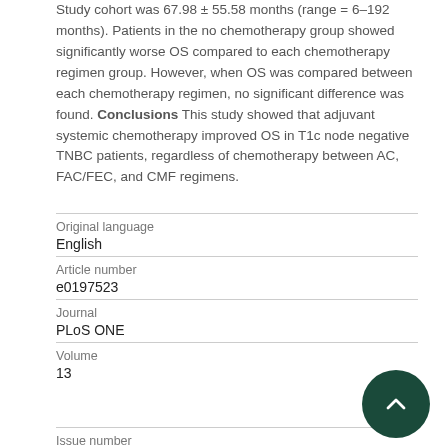Study cohort was 67.98 ± 55.58 months (range = 6–192 months). Patients in the no chemotherapy group showed significantly worse OS compared to each chemotherapy regimen group. However, when OS was compared between each chemotherapy regimen, no significant difference was found. Conclusions This study showed that adjuvant systemic chemotherapy improved OS in T1c node negative TNBC patients, regardless of chemotherapy between AC, FAC/FEC, and CMF regimens.
| Field | Value |
| --- | --- |
| Original language | English |
| Article number | e0197523 |
| Journal | PLoS ONE |
| Volume | 13 |
| Issue number |  |